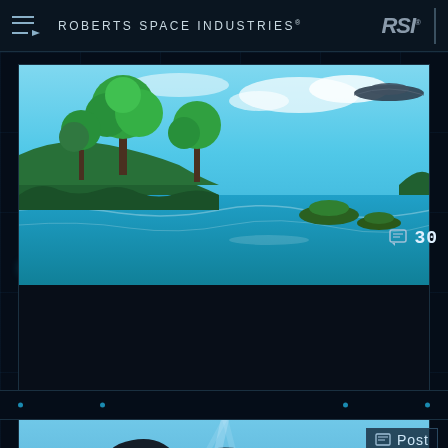ROBERTS SPACE INDUSTRIES®
[Figure (illustration): Tropical alien planet landscape with lush green trees, blue water, small islands, and a spaceship in the upper right corner]
30
Portfolio: The Bremen Beltway
Posted: 1 week ago
[Figure (illustration): Partial view of a dark spacecraft or alien creature against a blue sky background with a 'Post' badge overlay]